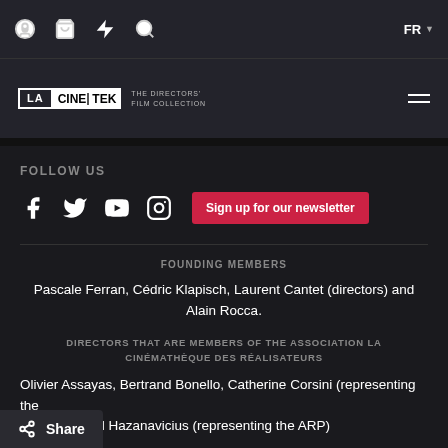Navigation bar with icons and FR language selector
[Figure (logo): LA CINETEK - The Directors' Film Collection logo]
FOLLOW US
Social media icons (Facebook, Twitter, YouTube, Instagram) and Sign up for our newsletter button
FOUNDING MEMBERS
Pascale Ferran, Cédric Klapisch, Laurent Cantet (directors) and Alain Rocca.
DIRECTORS THAT ARE MEMBERS OF THE ASSOCIATION LA CINÉMATHÈQUE DES RÉALISATEURS
Olivier Assayas, Bertrand Bonello, Catherine Corsini (representing the ...) and Michel Hazanavicius (representing the ARP)
COMPANIES THAT ARE MEMBERS OF THE ASSOCIATION LA